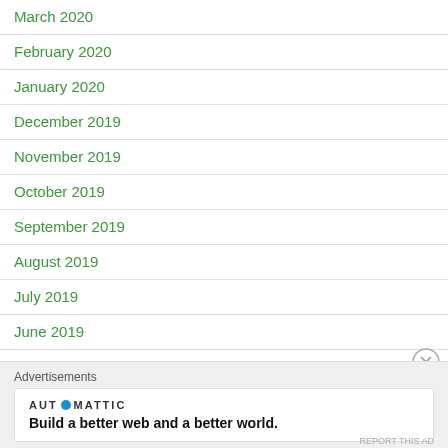March 2020
February 2020
January 2020
December 2019
November 2019
October 2019
September 2019
August 2019
July 2019
June 2019
Advertisements
[Figure (logo): Automattic logo with tagline: Build a better web and a better world.]